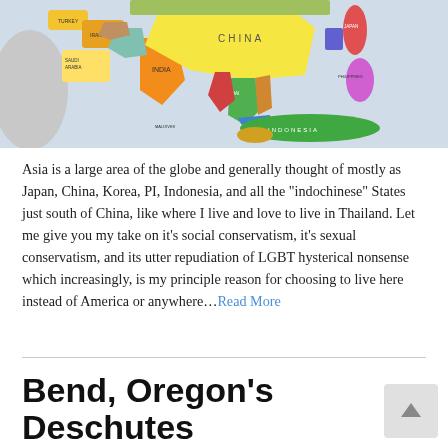[Figure (map): Political map of Asia showing countries including China, India, Japan, Indonesia, Thailand, Saudi Arabia, Iran, and other nations, each colored differently]
Asia is a large area of the globe and generally thought of mostly as Japan, China, Korea, PI, Indonesia, and all the "indochinese" States just south of China, like where I live and love to live in Thailand. Let me give you my take on it's social conservatism, it's sexual conservatism, and its utter repudiation of LGBT hysterical nonsense which increasingly, is my principle reason for choosing to live here instead of America or anywhere…Read More
Bend, Oregon's Deschutes Brewery Craft Is Next Door To…